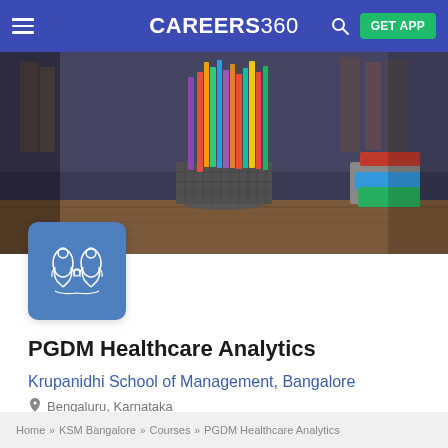CAREERS360
[Figure (photo): Hero banner photo showing colored pencils in a mesh holder on a wooden desk, with stacked books on the right, blurred bookshelf background]
[Figure (logo): Krupanidhi School of Management logo — blue square with white decorative emblem showing two facing figures/creatures]
PGDM Healthcare Analytics
Krupanidhi School of Management, Bangalore
Bengaluru, Karnataka
Download Brochure
Home » KSM Bangalore » Courses » PGDM Healthcare Analytics